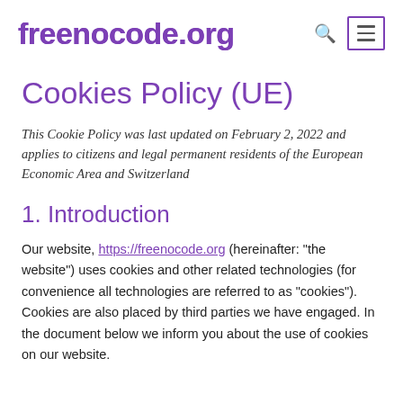freenocode.org
Cookies Policy (UE)
This Cookie Policy was last updated on February 2, 2022 and applies to citizens and legal permanent residents of the European Economic Area and Switzerland
1. Introduction
Our website, https://freenocode.org (hereinafter: “the website”) uses cookies and other related technologies (for convenience all technologies are referred to as “cookies”). Cookies are also placed by third parties we have engaged. In the document below we inform you about the use of cookies on our website.